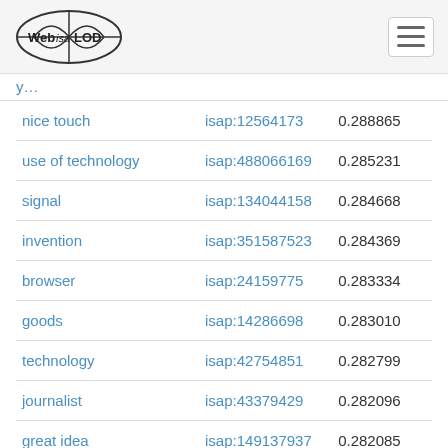Web isa LOD
| nice touch | isap:12564173 | 0.288865 |
| use of technology | isap:488066169 | 0.285231 |
| signal | isap:134044158 | 0.284668 |
| invention | isap:351587523 | 0.284369 |
| browser | isap:24159775 | 0.283334 |
| goods | isap:14286698 | 0.283010 |
| technology | isap:42754851 | 0.282799 |
| journalist | isap:43379429 | 0.282096 |
| great idea | isap:149137937 | 0.282085 |
| telephone | isap:351267434 | 0.281867 |